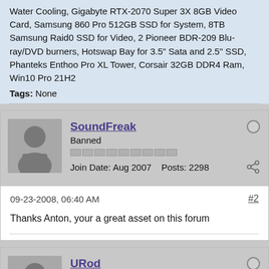Water Cooling, Gigabyte RTX-2070 Super 3X 8GB Video Card, Samsung 860 Pro 512GB SSD for System, 8TB Samsung Raid0 SSD for Video, 2 Pioneer BDR-209 Blu-ray/DVD burners, Hotswap Bay for 3.5" Sata and 2.5" SSD, Phanteks Enthoo Pro XL Tower, Corsair 32GB DDR4 Ram, Win10 Pro 21H2
Tags: None
SoundFreak
Banned
Join Date: Aug 2007    Posts: 2298
09-23-2008, 06:40 AM
#2
Thanks Anton, your a great asset on this forum
URod
Junior Member
Join Date: May 2007    Posts: 4